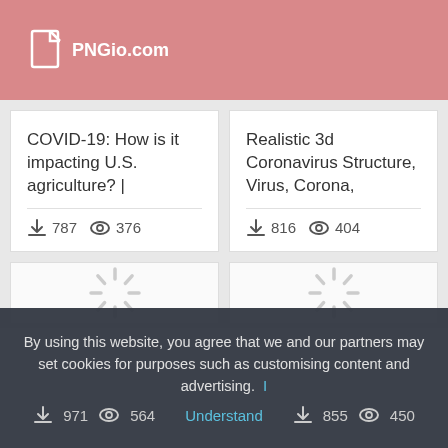PNGio.com
COVID-19: How is it impacting U.S. agriculture? | — downloads: 787, views: 376
Realistic 3d Coronavirus Structure, Virus, Corona, — downloads: 816, views: 404
[Figure (other): Loading spinner placeholder for image card]
[Figure (other): Loading spinner placeholder for image card]
By using this website, you agree that we and our partners may set cookies for purposes such as customising content and advertising.
downloads: 971, views: 564 | Understand | downloads: 855, views: 450